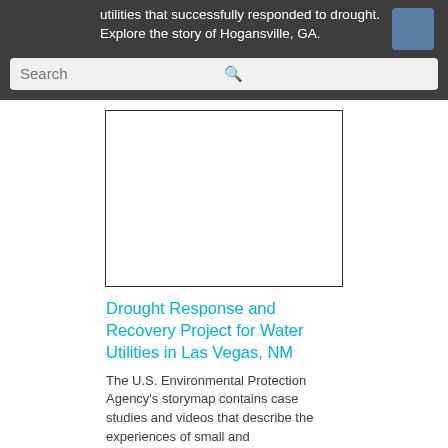utilities that successfully responded to drought. Explore the story of Hogansville, GA.
[Figure (screenshot): Search bar UI element with placeholder text 'Search' and a cyan magnifying glass icon on dark background]
[Figure (photo): Empty white image placeholder with thin black border]
Drought Response and Recovery Project for Water Utilities in Las Vegas, NM
The U.S. Environmental Protection Agency's storymap contains case studies and videos that describe the experiences of small and